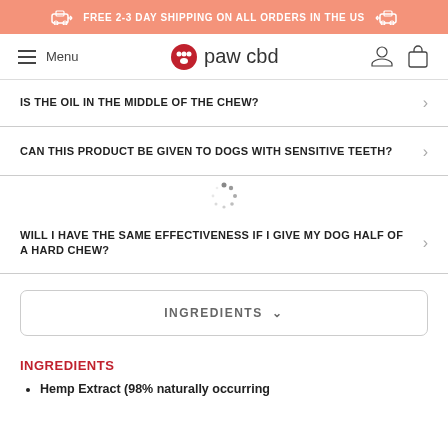FREE 2-3 DAY SHIPPING ON ALL ORDERS IN THE US
Menu | paw cbd
IS THE OIL IN THE MIDDLE OF THE CHEW?
CAN THIS PRODUCT BE GIVEN TO DOGS WITH SENSITIVE TEETH?
WILL I HAVE THE SAME EFFECTIVENESS IF I GIVE MY DOG HALF OF A HARD CHEW?
INGREDIENTS
INGREDIENTS
Hemp Extract (98% naturally occurring